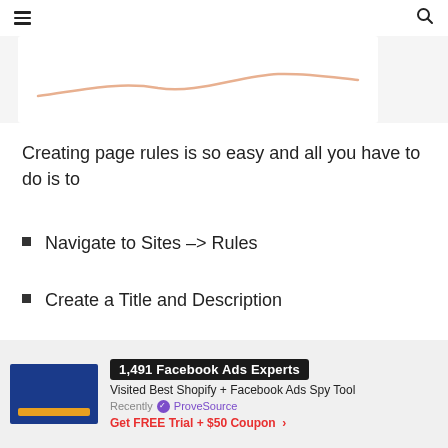☰  🔍
[Figure (screenshot): Partial screenshot of a web chart/graph with a light orange curved line on a white background, inside a light grey container]
Creating page rules is so easy and all you have to do is to
Navigate to Sites –> Rules
Create a Title and Description
Add Target condition
Save the rule
[Figure (screenshot): ProveSource social proof notification widget showing: '1,491 Facebook Ads Experts' badge, 'Visited Best Shopify + Facebook Ads Spy Tool', 'Recently ✓ ProveSource', 'Get FREE Trial + $50 Coupon >']